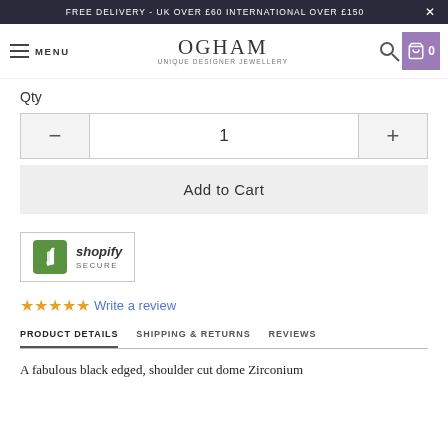FREE DELIVERY - UK OVER £60 INTERNATIONAL OVER £150  ×
[Figure (logo): OGHAM Unique Designer Jewellery logo with hamburger menu, search and cart icons]
Qty
1
Add to Cart
[Figure (logo): Shopify Secure badge with green Shopify bag icon]
☆☆☆☆☆ Write a review
PRODUCT DETAILS   SHIPPING & RETURNS   REVIEWS
A fabulous black edged, shoulder cut dome Zirconium